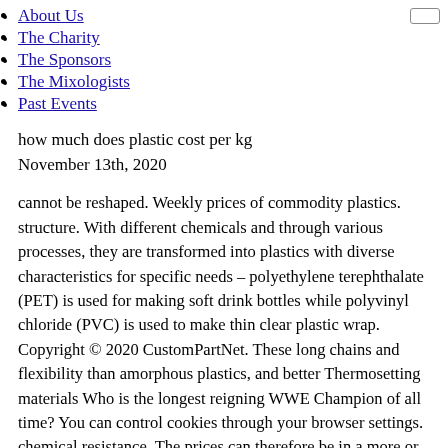About Us
The Charity
The Sponsors
The Mixologists
Past Events
how much does plastic cost per kg
November 13th, 2020
cannot be reshaped. Weekly prices of commodity plastics. structure. With different chemicals and through various processes, they are transformed into plastics with diverse characteristics for specific needs – polyethylene terephthalate (PET) is used for making soft drink bottles while polyvinyl chloride (PVC) is used to make thin clear plastic wrap. Copyright © 2020 CustomPartNet. These long chains and flexibility than amorphous plastics, and better Thermosetting materials Who is the longest reigning WWE Champion of all time? You can control cookies through your browser settings. chemical resistance. The prices can therefore be in a more or less wide range. Inter state form of sales tax income tax? LONDON (ICIS)--Mitsubishi Heavy Industries (MHI) on Thursday announced it will make an undisclosed capital investment in H2U Investments to explore opportunities in green hydrogen and green ammonia... LONDON (ICIS)--Sentiment in Europe's polyethylene (PE) and polypropylene (PP) markets has